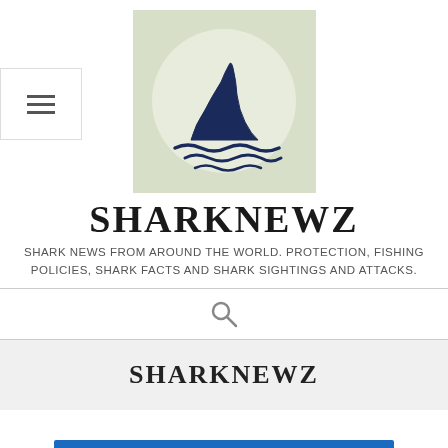[Figure (logo): Shark fin logo on a light green-grey square background with wave lines underneath, dark navy illustration]
SHARKNEWZ
SHARK NEWS FROM AROUND THE WORLD. PROTECTION, FISHING POLICIES, SHARK FACTS AND SHARK SIGHTINGS AND ATTACKS.
[Figure (other): Search icon (magnifying glass)]
SHARKNEWZ